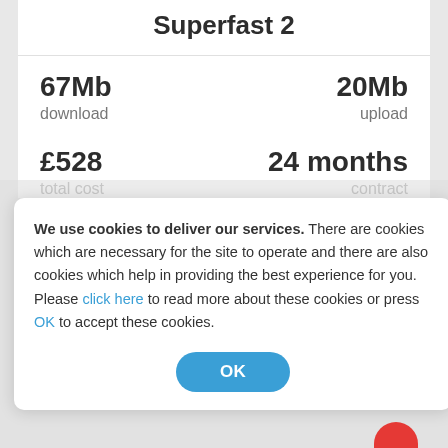Superfast 2
67Mb
download
20Mb
upload
£528
total cost
24 months
contract
We use cookies to deliver our services. There are cookies which are necessary for the site to operate and there are also cookies which help in providing the best experience for you. Please click here to read more about these cookies or press OK to accept these cookies.